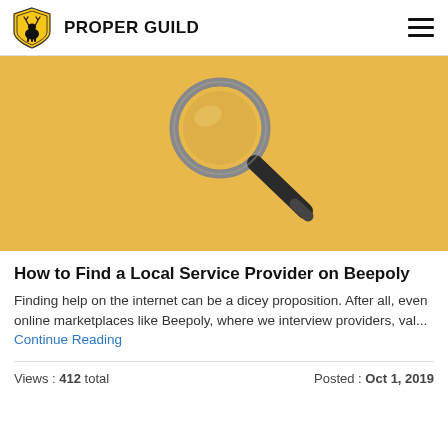PROPER GUILD
[Figure (photo): Yellow background with a magnifying glass with a dark handle, photographed from above on a golden-yellow surface.]
How to Find a Local Service Provider on Beepoly
Finding help on the internet can be a dicey proposition. After all, even online marketplaces like Beepoly, where we interview providers, val... Continue Reading
Views : 412 total   Posted : Oct 1, 2019